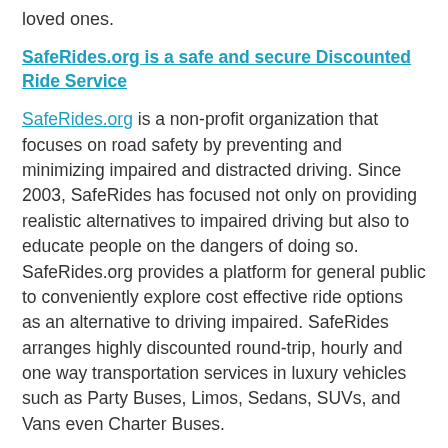loved ones.
SafeRides.org is a safe and secure Discounted Ride Service
SafeRides.org is a non-profit organization that focuses on road safety by preventing and minimizing impaired and distracted driving. Since 2003, SafeRides has focused not only on providing realistic alternatives to impaired driving but also to educate people on the dangers of doing so. SafeRides.org provides a platform for general public to conveniently explore cost effective ride options as an alternative to driving impaired. SafeRides arranges highly discounted round-trip, hourly and one way transportation services in luxury vehicles such as Party Buses, Limos, Sedans, SUVs, and Vans even Charter Buses.
Benefits of booking with SafeRides.org
SafeRides.org only utilizes properly state licensed and fully